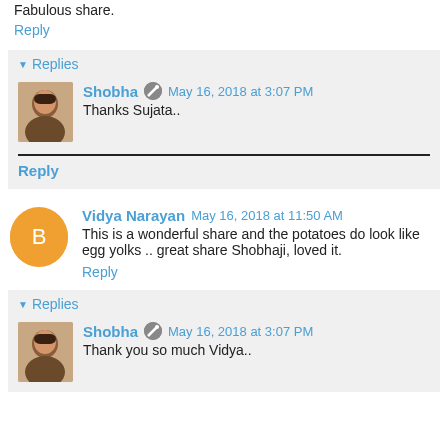Fabulous share.
Reply
Replies
Shobha  May 16, 2018 at 3:07 PM
Thanks Sujata..
Reply
Vidya Narayan  May 16, 2018 at 11:50 AM
This is a wonderful share and the potatoes do look like egg yolks .. great share Shobhaji, loved it.
Reply
Replies
Shobha  May 16, 2018 at 3:07 PM
Thank you so much Vidya..